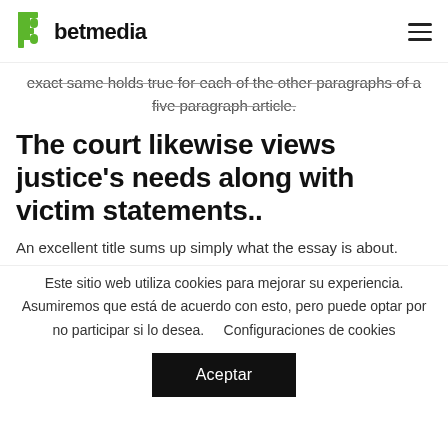betmedia
exact same holds true for each of the other paragraphs of a five paragraph article.
The court likewise views justice's needs along with victim statements..
An excellent title sums up simply what the essay is about.
Este sitio web utiliza cookies para mejorar su experiencia. Asumiremos que está de acuerdo con esto, pero puede optar por no participar si lo desea.    Configuraciones de cookies
Aceptar